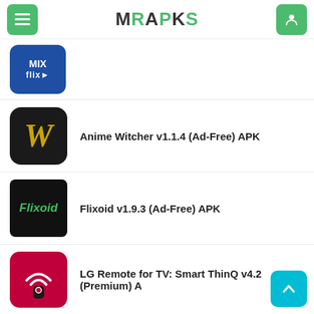MRAPKS
[Figure (screenshot): MixFlix app icon — blue background with MIX flix text]
[Figure (screenshot): Anime Witcher app icon — black background with yellow italic W]
Anime Witcher v1.1.4 (Ad-Free) APK
[Figure (screenshot): Flixoid app icon — black background with green italic Flixoid text]
Flixoid v1.9.3 (Ad-Free) APK
[Figure (screenshot): LG Remote app icon — red/pink background with wifi remote graphic]
LG Remote for TV: Smart ThinQ v4.2 (Premium) A